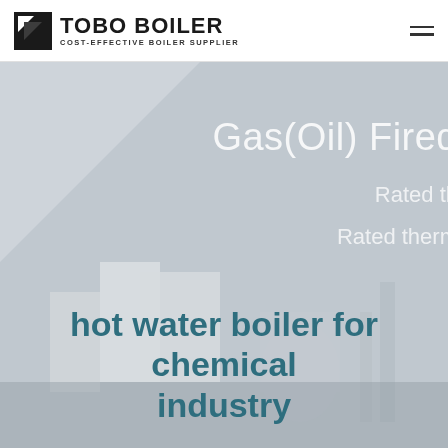TOBO BOILER | COST-EFFECTIVE BOILER SUPPLIER
[Figure (screenshot): Hero background image showing industrial boiler equipment in a muted gray overlay, with large white text overlays reading 'Gas(Oil) Fired', 'Rated th...', 'Rated therm...' partially visible on the right side]
hot water boiler for chemical industry